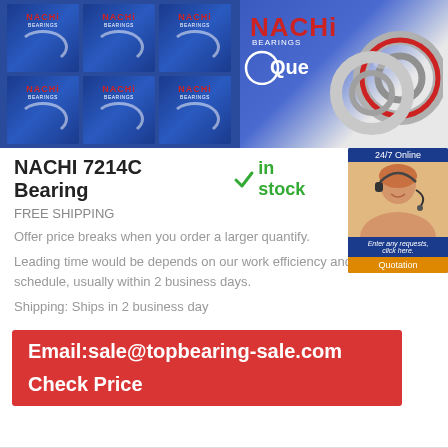[Figure (photo): Left: stacked blue NACHI branded bearing boxes arranged in rows. Right: close-up product shot of a bearing ring with red seal on a blue background with 'Que...' logo.]
NACHI 7214C Bearing
in stock
FREE SHIPPING
Offer price breaks when you order a larger quantify.
Leading time would be depends on our work efficiency and delivery schedule, usually within 2 business days.
Shipping: Ships in 2 business day
Email:sale@topbearing-sale.com
Check Price
[Figure (photo): 24/7 Online customer service agent photo with quotation button]